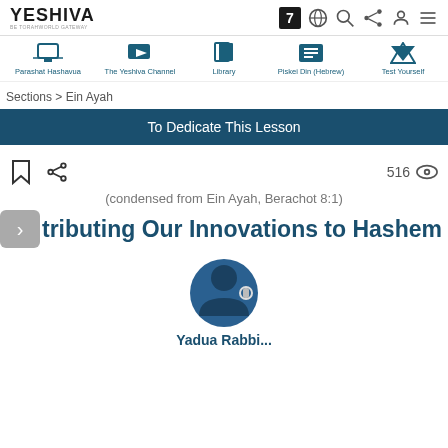YESHIVA
[Figure (screenshot): Navigation bar with icons: Parashat Hashavua, The Yeshiva Channel, Library, Piskei Din (Hebrew), Test Yourself]
Sections > Ein Ayah
To Dedicate This Lesson
516
(condensed from Ein Ayah, Berachot 8:1)
tributing Our Innovations to Hashem
[Figure (illustration): Blue circular avatar icon of a person with headphones, partially cropped]
Yadua Rabbi...